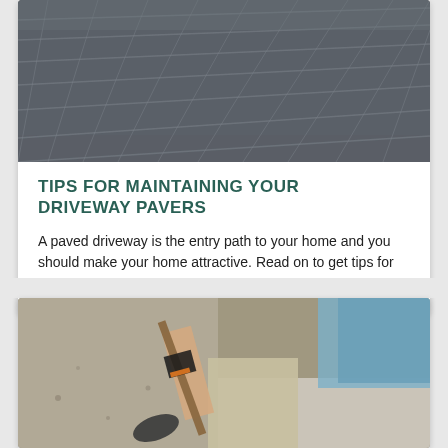[Figure (photo): Aerial view of dark gray stone paver tiles arranged in a grid pattern, viewed from above at an angle.]
TIPS FOR MAINTAINING YOUR DRIVEWAY PAVERS
A paved driveway is the entry path to your home and you should make your home attractive. Read on to get tips for maintaining your driveway pavers
[Figure (photo): A person wearing black gloves and khaki shorts shoveling gravel or sand near white stone pavers, with blue water visible in the background.]